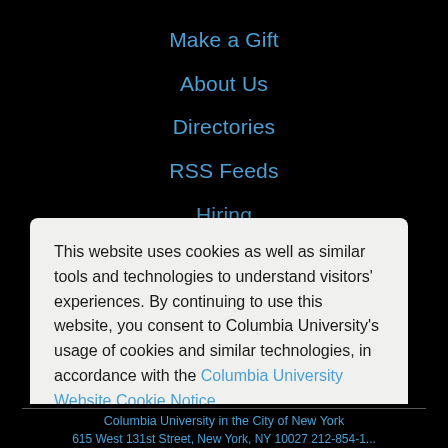Make a Gift
About Us
Directories
RSS Feeds
Hiring
Media Inquiries
This website uses cookies as well as similar tools and technologies to understand visitors' experiences. By continuing to use this website, you consent to Columbia University's usage of cookies and similar technologies, in accordance with the Columbia University Website Cookie Notice.
I agree
Columbia University in the City of New York
615 West 131st Street, New York, NY 10027 212-854-1...